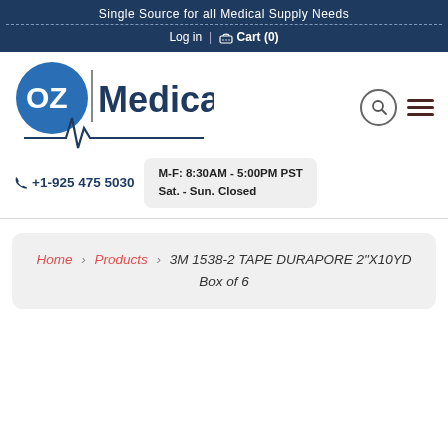Single Source for all Medical Supply Needs
Log in | Cart (0)
[Figure (logo): OZ Medical logo with heartbeat ECG line graphic]
+1-925 475 5030
M-F: 8:30AM - 5:00PM PST Sat. - Sun. Closed
Home › Products › 3M 1538-2 TAPE DURAPORE 2"X10YD Box of 6